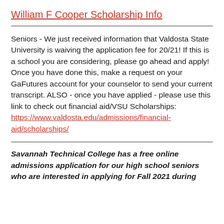William F Cooper Scholarship Info
Seniors - We just received information that Valdosta State University is waiving the application fee for 20/21! If this is a school you are considering, please go ahead and apply! Once you have done this, make a request on your GaFutures account for your counselor to send your current transcript. ALSO - once you have applied - please use this link to check out financial aid/VSU Scholarships: https://www.valdosta.edu/admissions/financial-aid/scholarships/
Savannah Technical College has a free online admissions application for our high school seniors who are interested in applying for Fall 2021 during